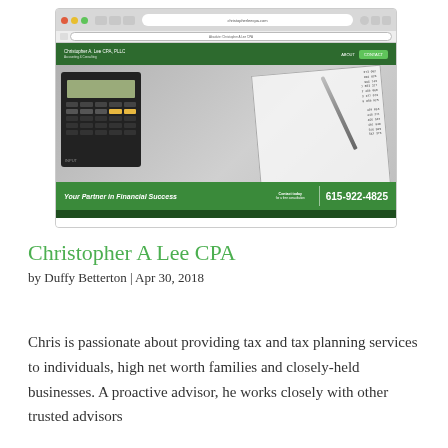[Figure (screenshot): Screenshot of Christopher A Lee CPA, PLLC website showing a browser window with a dark green navigation bar, hero image of a calculator and financial documents with a pen, and a green banner at the bottom reading 'Your Partner in Financial Success' and phone number 615-922-4825]
Christopher A Lee CPA
by Duffy Betterton | Apr 30, 2018
Chris is passionate about providing tax and tax planning services to individuals, high net worth families and closely-held businesses. A proactive advisor, he works closely with other trusted advisors